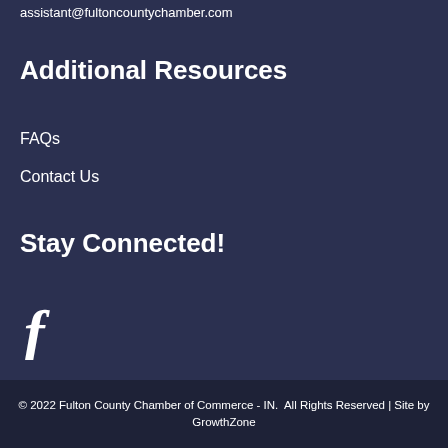assistant@fultoncountychamber.com
Additional Resources
FAQs
Contact Us
Stay Connected!
[Figure (logo): Facebook icon - white letter f on dark background]
© 2022 Fulton County Chamber of Commerce - IN.  All Rights Reserved | Site by GrowthZone